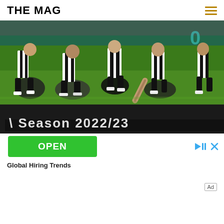THE MAG
[Figure (photo): Football players in black and white striped Newcastle United jerseys sitting/celebrating on a green pitch]
[Figure (photo): Partial banner showing 'Season 2022/23' text on dark background with crowd]
OPEN
Global Hiring Trends
Ad